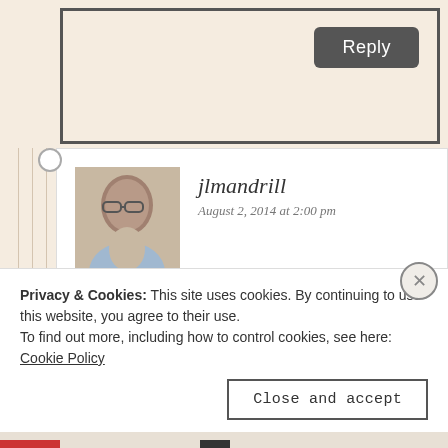[Figure (screenshot): Reply button in a dark rounded rectangle in the top right of a comment text area box]
[Figure (photo): Avatar/profile photo of an older bald man with glasses wearing a light blue shirt]
jlmandrill
August 2, 2014 at 2:00 pm
And will people learn? Let's not count on it. There are a few blogs (yours is one of them) that I follow because they're often hilarious
Privacy & Cookies: This site uses cookies. By continuing to use this website, you agree to their use.
To find out more, including how to control cookies, see here: Cookie Policy
Close and accept